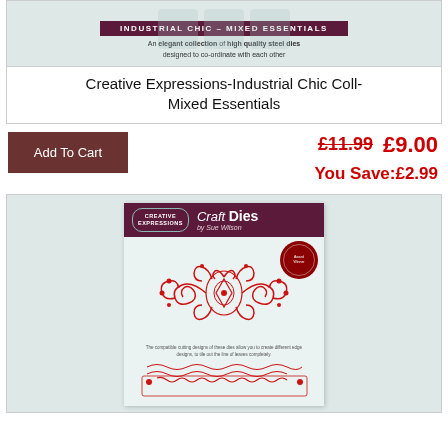[Figure (photo): Product image of Industrial Chic Mixed Essentials die collection with brand banner]
Creative Expressions-Industrial Chic Coll- Mixed Essentials
Add To Cart
£11.99  £9.00
You Save:£2.99
[Figure (photo): Creative Expressions Craft Dies by Sue Wilson product packaging showing ornate red filigree die design]